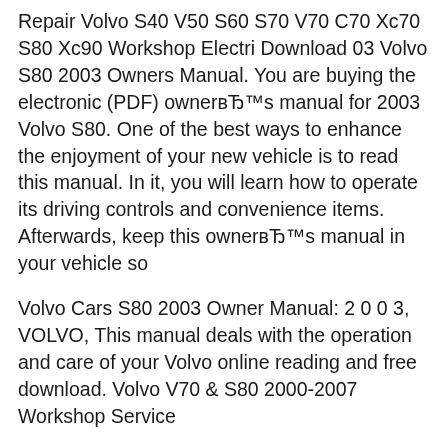Repair Volvo S40 V50 S60 S70 V70 C70 Xc70 S80 Xc90 Workshop Electri Download 03 Volvo S80 2003 Owners Manual. You are buying the electronic (PDF) ownerвЂ™s manual for 2003 Volvo S80. One of the best ways to enhance the enjoyment of your new vehicle is to read this manual. In it, you will learn how to operate its driving controls and convenience items. Afterwards, keep this ownerвЂ™s manual in your vehicle so
Volvo Cars S80 2003 Owner Manual: 2 0 0 3, VOLVO, This manual deals with the operation and care of your Volvo online reading and free download. Volvo V70 & S80 2000-2007 Workshop Service